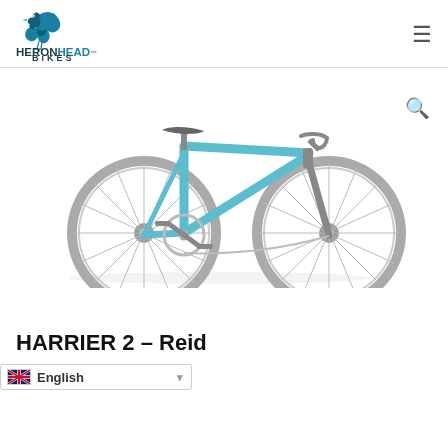[Figure (logo): HeronHead Bikes logo with heron bird illustration in teal/dark teal above stylized text HERONHEAD BIKES]
[Figure (photo): A teal/light blue single-speed or fixed-gear bicycle (Harrier 2 by Reid) shown in side profile on white background. The bike has drop handlebars, a dark saddle, and light-colored wheels with visible spokes.]
HARRIER 2 – Reid
$499.99